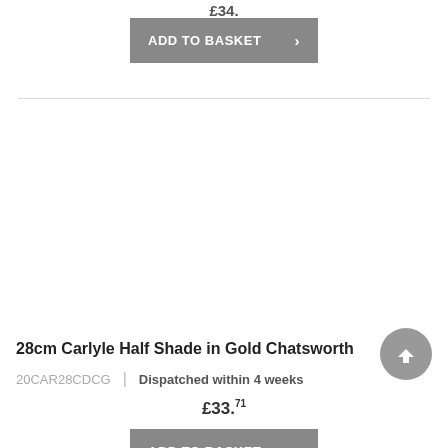£34.
[Figure (other): ADD TO BASKET button (grey) with chevron arrow, top of page]
28cm Carlyle Half Shade in Gold Chatsworth
20CAR28CDCG | Dispatched within 4 weeks
£33.71
[Figure (other): ADD TO BASKET button (grey) with chevron arrow, bottom of page]